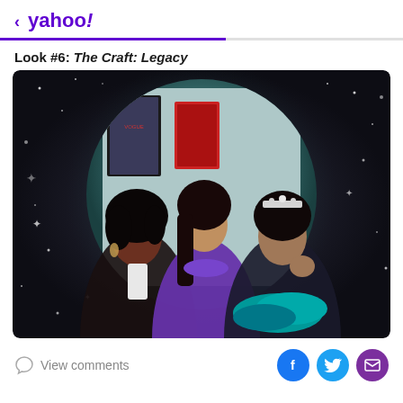< yahoo!
Look #6: The Craft: Legacy
[Figure (photo): Three young women posing together inside a glowing circular orb frame against a dark starry background. The woman on the left has dark curly hair and wears a white top. The woman in the middle has long dark hair and wears a purple top. The woman on the right wears a tiara and a dark top with blue feather trim.]
View comments